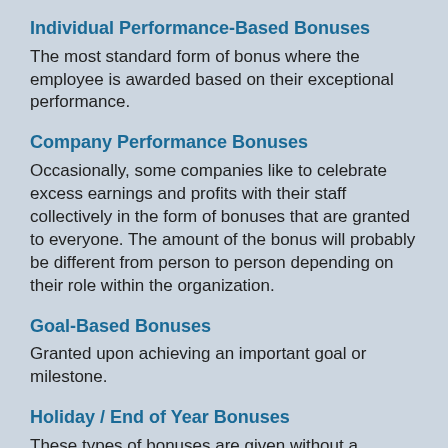Individual Performance-Based Bonuses
The most standard form of bonus where the employee is awarded based on their exceptional performance.
Company Performance Bonuses
Occasionally, some companies like to celebrate excess earnings and profits with their staff collectively in the form of bonuses that are granted to everyone. The amount of the bonus will probably be different from person to person depending on their role within the organization.
Goal-Based Bonuses
Granted upon achieving an important goal or milestone.
Holiday / End of Year Bonuses
These types of bonuses are given without a